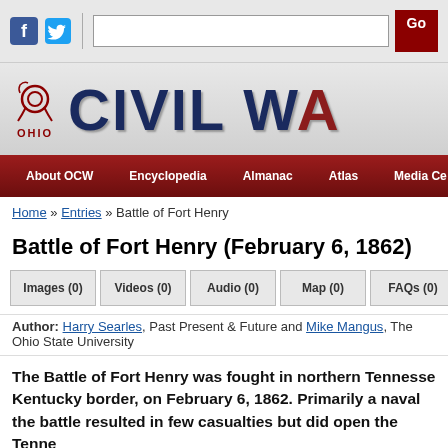[Figure (screenshot): Website top bar with Facebook icon, Twitter icon, search box, and Go button]
[Figure (logo): Ohio Civil War website header banner with Ohio logo and CIVIL W... title text]
About OCW | Encyclopedia | Almanac | Atlas | Media Ce...
Home » Entries » Battle of Fort Henry
Battle of Fort Henry (February 6, 1862)
Images (0) | Videos (0) | Audio (0) | Map (0) | FAQs (0) | Facts (0)
Author: Harry Searles, Past Present & Future and Mike Mangus, The Ohio State University
The Battle of Fort Henry was fought in northern Tennessee, near the Kentucky border, on February 6, 1862. Primarily a naval engagement, the battle resulted in few casualties but did open the Tennessee River as a pathway for Federal invasion of the South in the Western Theater of the American Civil War.